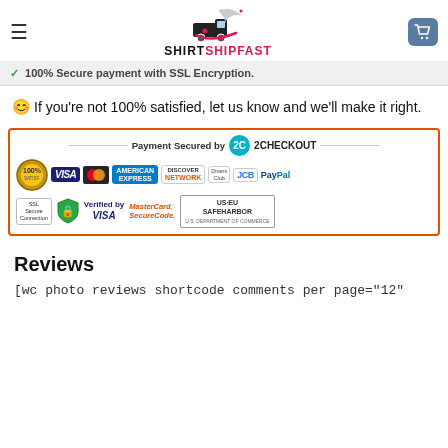SHIRTSHIPFAST
✓ 100% Secure payment with SSL Encryption.
😊 If you're not 100% satisfied, let us know and we'll make it right.
[Figure (infographic): Payment Secured by 2CHECKOUT banner with logos: 100% Guarantee Satisfaction badge, VISA, MasterCard, American Express, Discover Network, Diners Club, JCB, PayPal, SSL Secure Connection, Verified by VISA, MasterCard SecureCode, US-EU SAFEHARBOR U.S. Department of Commerce]
Reviews
[wc photo reviews shortcode comments per page="12"